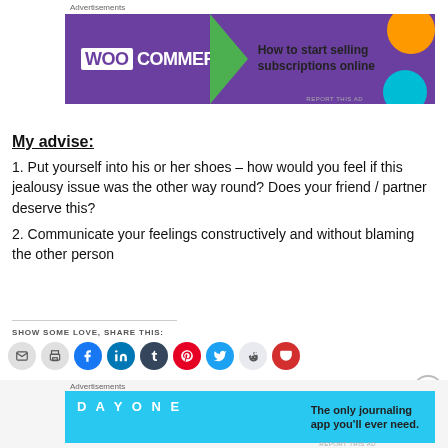[Figure (other): WooCommerce advertisement banner - How to start selling subscriptions online]
My advise:
1. Put yourself into his or her shoes – how would you feel if this jealousy issue was the other way round? Does your friend / partner deserve this?
2. Communicate your feelings constructively and without blaming the other person
SHOW SOME LOVE, SHARE THIS:
[Figure (other): Social share icons: email, print, Facebook, LinkedIn, Tumblr, Pinterest, Twitter, Reddit, Pocket]
[Figure (other): Day One journaling app advertisement banner - The only journaling app you'll ever need.]